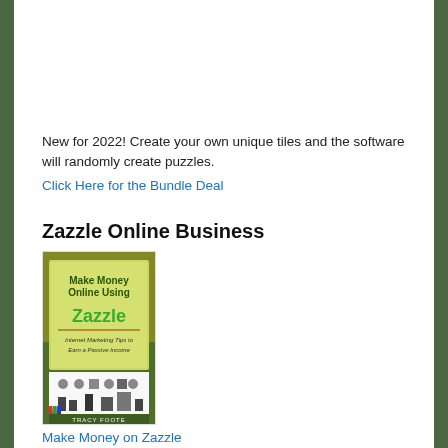[Figure (illustration): Top portion of a maze puzzle shown in perspective/isometric view with grey tiles and red path lines indicating the solution route.]
New for 2022! Create your own unique tiles and the software will randomly create puzzles.
Click Here for the Bundle Deal
Zazzle Online Business
[Figure (photo): Book cover for 'Make Money Online Using Zazzle: Internet Marketing Tips to Earn a Passive Income' by Tracy Foote. Green and yellow cover with dollar bills in background and craft/design icons at bottom.]
Make Money on Zazzle